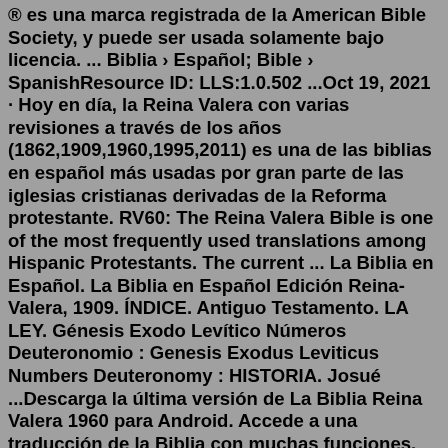® es una marca registrada de la American Bible Society, y puede ser usada solamente bajo licencia. ... Biblia › Español; Bible › SpanishResource ID: LLS:1.0.502 ...Oct 19, 2021 · Hoy en día, la Reina Valera con varias revisiones a través de los años (1862,1909,1960,1995,2011) es una de las biblias en español más usadas por gran parte de las iglesias cristianas derivadas de la Reforma protestante. RV60: The Reina Valera Bible is one of the most frequently used translations among Hispanic Protestants. The current ... La Biblia en Español. La Biblia en Español Edición Reina-Valera, 1909. ÍNDICE. Antiguo Testamento. LA LEY. Génesis Exodo Levítico Números Deuteronomio : Genesis Exodus Leviticus Numbers Deuteronomy : HISTORIA. Josué ...Descarga la última versión de La Biblia Reina Valera 1960 para Android. Accede a una traducción de la Biblia con muchas funciones. Android / ... Español . 19 más. Autor: LemonIceCompany: Tamaño: 3.61 MB: Permisos: 2. Descargas: 7,555: Fecha: ... Descarga música y vídeo